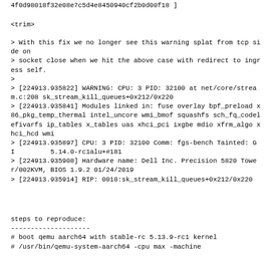4f0d98018f32e08e7c5d4e8450940cf2b0d00f18 ]
<trim>
> With this fix we no longer see this warning splat from tcp side on
> socket close when we hit the above case with redirect to ingress self.
>
> [224913.935822] WARNING: CPU: 3 PID: 32100 at net/core/stream.c:208 sk_stream_kill_queues+0x212/0x220
> [224913.935841] Modules linked in: fuse overlay bpf_preload x86_pkg_temp_thermal intel_uncore wmi_bmof squashfs sch_fq_codel efivarfs ip_tables x_tables uas xhci_pci ixgbe mdio xfrm_algo xhci_hcd wmi
> [224913.935897] CPU: 3 PID: 32100 Comm: fgs-bench Tainted: G          I         5.14.0-rc1alu+#181
> [224913.935908] Hardware name: Dell Inc. Precision 5820 Tower/002KVM, BIOS 1.9.2 01/24/2019
> [224913.935914] RIP: 0010:sk_stream_kill_queues+0x212/0x220
steps to reproduce:
--------------------
# boot qemu aarch64 with stable-rc 5.13.9-rc1 kernel
# /usr/bin/qemu-system-aarch64 -cpu max -machine